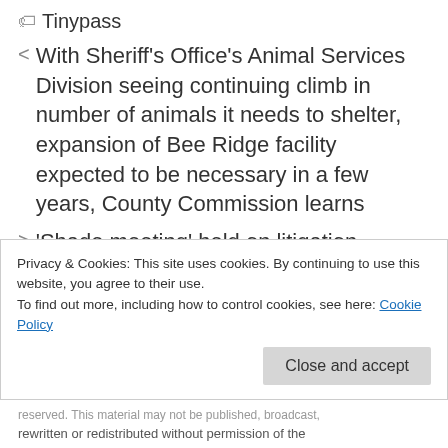Tinypass
With Sheriff's Office's Animal Services Division seeing continuing climb in number of animals it needs to shelter, expansion of Bee Ridge facility expected to be necessary in a few years, County Commission learns
'Shade meeting' held on litigation related to North Beach Road vacation and two Sarasota County Charter amendments approved by voters
Privacy & Cookies: This site uses cookies. By continuing to use this website, you agree to their use.
To find out more, including how to control cookies, see here: Cookie Policy
reserved. This material may not be published, broadcast, rewritten or redistributed without permission of the